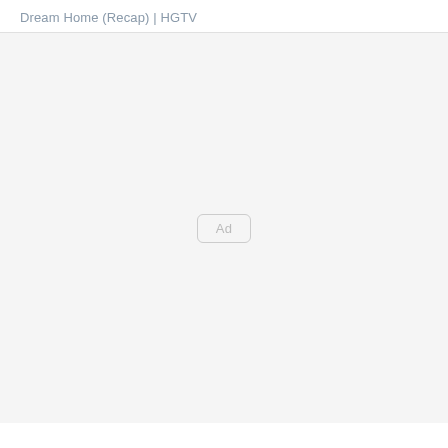Dream Home (Recap) | HGTV
[Figure (other): Advertisement placeholder area with light gray background and a small rounded 'Ad' badge in the center]